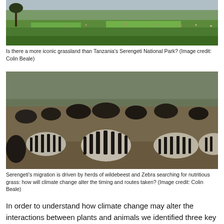[Figure (photo): Wide-angle photo of Tanzania's Serengeti National Park grassland with a lone tree on the left, green plains stretching to the horizon with scattered animals and trees in the background under an overcast sky.]
Is there a more iconic grassland than Tanzania's Serengeti National Park? (Image credit: Colin Beale)
[Figure (photo): Close-up photo of a large herd of wildebeest and zebra crowded together in the Serengeti, showing their striped and dark bodies in a dense grouping.]
Serengeti's migration is driven by herds of wildebeest and Zebra searching for nutritious grass: how will climate change alter the timing and routes taken? (Image credit: Colin Beale)
In order to understand how climate change may alter the interactions between plants and animals we identified three key questions that needed to be